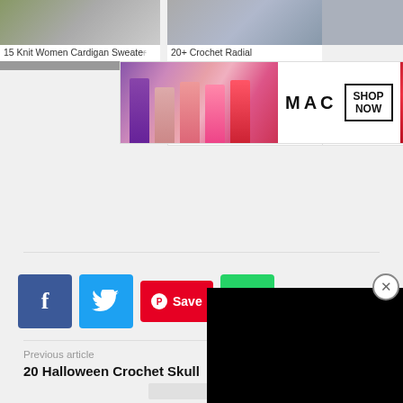[Figure (screenshot): Partial view of a knitting/crochet article card: '15 Knit Women Cardigan Sweate...' with clothing photo]
[Figure (screenshot): Partial view of crochet article card: '20+ Crochet Radial...' with knit pattern photo]
[Figure (advertisement): MAC cosmetics ad banner with lipsticks, MAC logo, SHOP NOW button]
[Figure (screenshot): Social sharing buttons: Facebook (f), Twitter (bird), Pinterest (Save), WhatsApp]
[Figure (screenshot): Black video overlay panel in bottom-right with X close button]
Previous article
20 Halloween Crochet Skull Ideas Free Patterns
20 Crochet Hoodie Scarf Scoodie Free Patterns